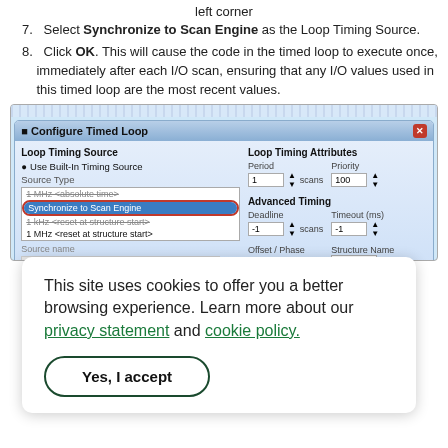left corner
7. Select Synchronize to Scan Engine as the Loop Timing Source.
8. Click OK. This will cause the code in the timed loop to execute once, immediately after each I/O scan, ensuring that any I/O values used in this timed loop are the most recent values.
[Figure (screenshot): Screenshot of Configure Timed Loop dialog with Synchronize to Scan Engine selected in the dropdown, with Loop Timing Source and Loop Timing Attributes panels visible.]
This site uses cookies to offer you a better browsing experience. Learn more about our privacy statement and cookie policy.
Yes, I accept